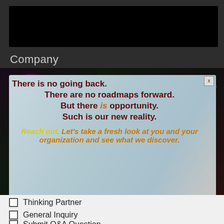[Figure (screenshot): Black video player bar at top of page]
Company
[Figure (screenshot): Dark space/cosmic background banner with magenta star glow effect, Jeff Hester speaker coach author branding, and coronavirus particle imagery]
There is no going back.
There are no roadmaps forward.
But there is opportunity.
Such is our new reality.
Reach out. Let's take a fresh look at you and your organization and see what we discover.
[Figure (screenshot): Subscribe button with gold border]
Thinking Partner
General Inquiry
Submit Q&A Question